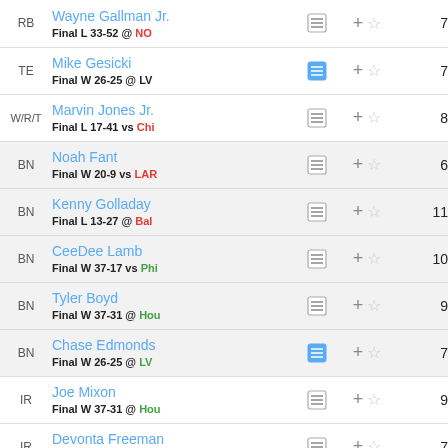| POS | PLAYER |  |  | SCORE |
| --- | --- | --- | --- | --- |
| RB | Wayne Gallman Jr. Final L 33-52 @ NO | doc | + ☆ | 7 |
| TE | Mike Gesicki Final W 26-25 @ LV | doc-blue | + ☆ | 7 |
| W/R/T | Marvin Jones Jr. Final L 17-41 vs Chi | doc | + ☆ | 8 |
| BN | Noah Fant Final W 20-9 vs LAR | doc | + ☆ | 6 |
| BN | Kenny Golladay Final L 13-27 @ Bal | doc | + ☆ | 11 |
| BN | CeeDee Lamb Final W 37-17 vs Phi | doc | + ☆ | 10 |
| BN | Tyler Boyd Final W 37-31 @ Hou | doc | + ☆ | 9 |
| BN | Chase Edmonds Final W 26-25 @ LV | doc-blue | + ☆ | 7 |
| IR | Joe Mixon Final W 37-31 @ Hou | doc | + ☆ | 9 |
| IR | Devonta Freeman Final W 27-13 vs NYG | doc | + ☆ | 7 |